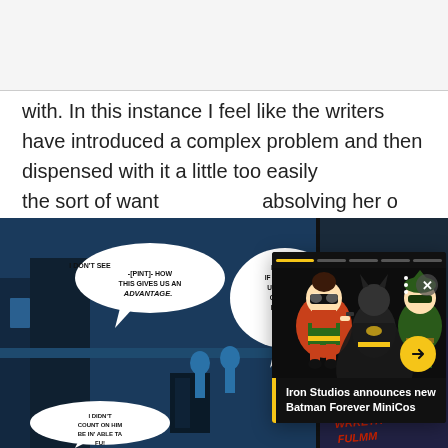with. In this instance I feel like the writers have introduced a complex problem and then dispensed with it a little too easily the sort of want absolving her o
[Figure (photo): Popup overlay card showing Iron Studios Batman Forever MiniCos figurines (Robin, Batman, Green Arrow) on dark background with yellow progress bar strip, dots menu, X close button, yellow arrow button. Title bar reads: Iron Studios announces new Batman Forever MiniCos]
[Figure (illustration): Comic book panels at bottom showing characters in action scenes with speech bubbles: 'I DON'T SEE -[PINT]- HOW THIS GIVES US AN ADVANTAGE.' and 'I FIGURE IF HE FOLLO US UP HER COULD M PUSH TH OFF!' and 'I DIDN'T COUNT ON HIM BE IN' ABLE TA FU!']